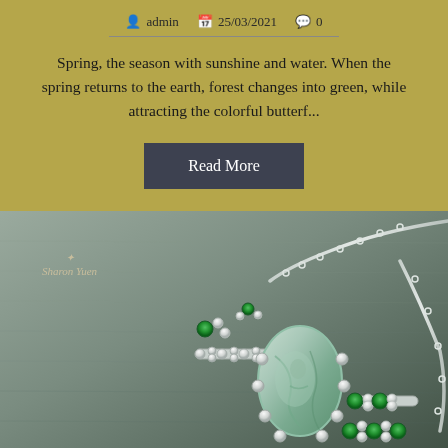admin  25/03/2021  0
Spring, the season with sunshine and water. When the spring returns to the earth, forest changes into green, while attracting the colorful butterf...
Read More
[Figure (photo): Close-up photo of an elegant jewelry necklace featuring a carved pale green jade/fluorite pendant surrounded by diamonds and emerald green gemstones set in silver, on a gray fabric background. A 'Sharon Yuen' watermark is visible in the upper left of the image.]